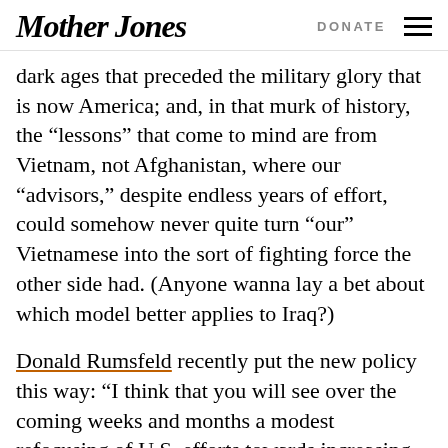Mother Jones | DONATE
dark ages that preceded the military glory that is now America; and, in that murk of history, the „lessons” that come to mind are from Vietnam, not Afghanistan, where our “advisors,” despite endless years of effort, could somehow never quite turn “our” Vietnamese into the sort of fighting force the other side had. (Anyone wanna lay a bet about which model better applies to Iraq?)
Donald Rumsfeld recently put the new policy this way: “I think that you will see over the coming weeks and months a modest refocusing of U.S. efforts towards increasing the mentoring and training and assisting of the Iraqi forces as the Iraqi forces take over more and more responsibility for